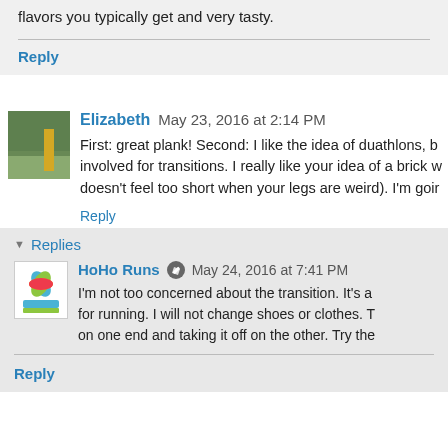flavors you typically get and very tasty.
Reply
Elizabeth   May 23, 2016 at 2:14 PM
First: great plank! Second: I like the idea of duathlons, b... involved for transitions. I really like your idea of a brick w... doesn't feel too short when your legs are weird). I'm goi...
Reply
Replies
HoHo Runs   May 24, 2016 at 7:41 PM
I'm not too concerned about the transition. It's a... for running. I will not change shoes or clothes. T... on one end and taking it off on the other. Try the...
Reply